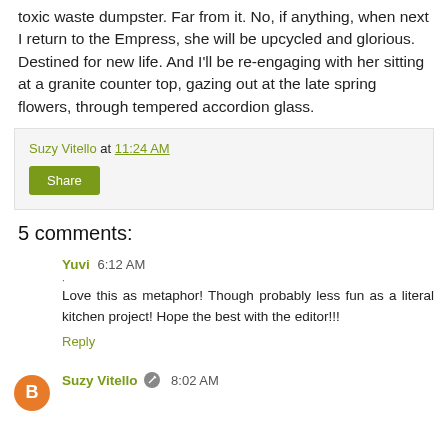toxic waste dumpster. Far from it. No, if anything, when next I return to the Empress, she will be upcycled and glorious. Destined for new life. And I'll be re-engaging with her sitting at a granite counter top, gazing out at the late spring flowers, through tempered accordion glass.
Suzy Vitello at 11:24 AM
Share
5 comments:
Yuvi 6:12 AM
Love this as metaphor! Though probably less fun as a literal kitchen project! Hope the best with the editor!!!
Reply
Suzy Vitello 8:02 AM